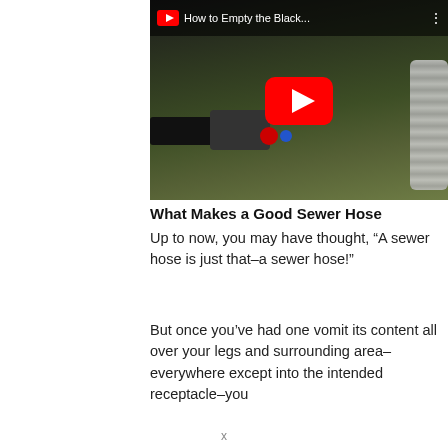[Figure (screenshot): YouTube video thumbnail showing RV sewer hose connections with title 'How to Empty the Black...' and a red YouTube play button overlay]
What Makes a Good Sewer Hose
Up to now, you may have thought, “A sewer hose is just that–a sewer hose!”
But once you’ve had one vomit its content all over your legs and surrounding area–everywhere except into the intended receptacle–you
x